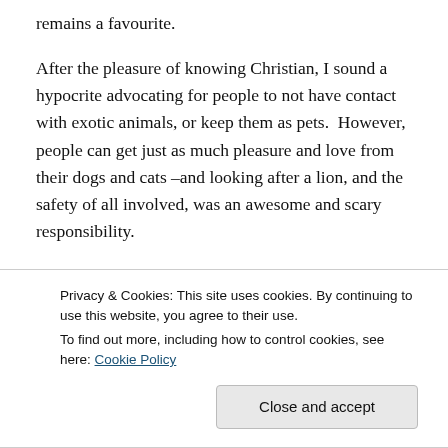remains a favourite.
After the pleasure of knowing Christian, I sound a hypocrite advocating for people to not have contact with exotic animals, or keep them as pets. However, people can get just as much pleasure and love from their dogs and cats –and looking after a lion, and the safety of all involved, was an awesome and scary responsibility.
MAIL: I'm so pleased that people continue to send stories into Christian's website www.christianthelion.com.au. Joe recently wrote that when he was young he visited a house
Privacy & Cookies: This site uses cookies. By continuing to use this website, you agree to their use.
To find out more, including how to control cookies, see here: Cookie Policy
Close and accept
father was a chimney sweep, and can you believe, he is